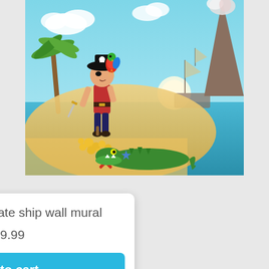[Figure (illustration): Kids cartoon pirate scene showing a young pirate with a parrot on his hat, sword, palm tree, treasure coins, crocodile, ship in background, volcano, clouds, and ocean setting.]
Kids cartoon Pirate ship wall mural
£39.99
Add to cart
Quickview